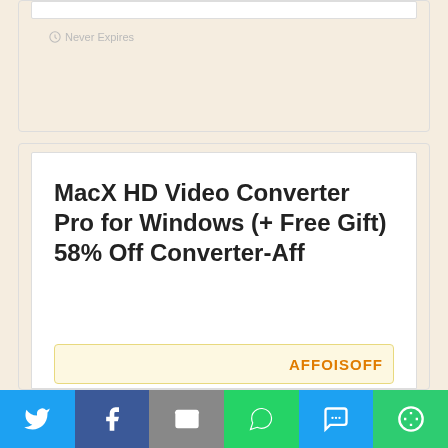Never Expires
MacX HD Video Converter Pro for Windows (+ Free Gift) 58% Off Converter-Aff
MacX HD Video Converter Main Features Best-in-Class HD Vi
AFFOISOFF